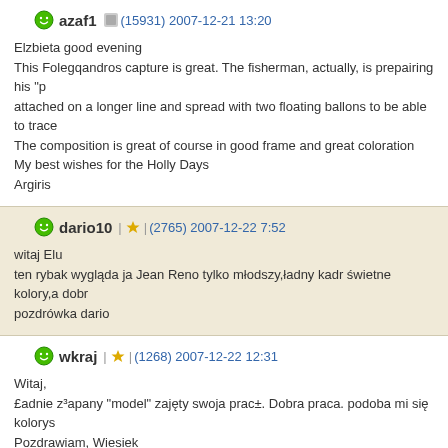azaf1 (15931) 2007-12-21 13:20
Elzbieta good evening
This Folegqandros capture is great. The fisherman, actually, is prepairing his "p attached on a longer line and spread with two floating ballons to be able to trace
The composition is great of course in good frame and great coloration
My best wishes for the Holly Days
Argiris
dario10 (2765) 2007-12-22 7:52
witaj Elu
ten rybak wygląda ja Jean Reno tylko młodszy,ładny kadr świetne kolory,a dobr pozdrówka dario
wkraj (1268) 2007-12-22 12:31
Witaj,
£adnie z³apany "model" zajęty swoja prac±. Dobra praca. podoba mi się kolory Pozdrawiam, Wiesiek
hatti52 (12786) 2007-12-22 14:27